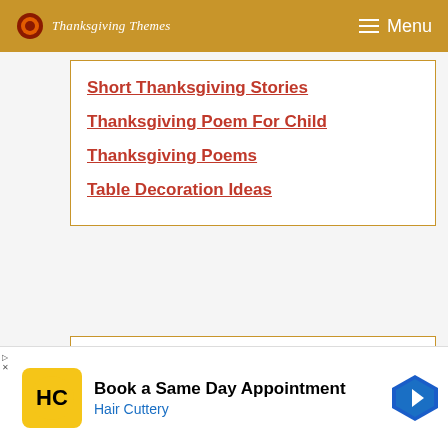Thanksgiving Themes — Menu
Short Thanksgiving Stories
Thanksgiving Poem For Child
Thanksgiving Poems
Table Decoration Ideas
Party Time
Party Planning
[Figure (other): Advertisement for Hair Cuttery: Book a Same Day Appointment]